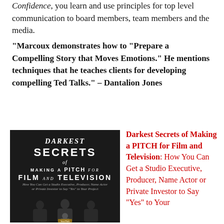Confidence, you learn and use principles for top level communication to board members, team members and the media.
"Marcoux demonstrates how to "Prepare a Compelling Story that Moves Emotions." He mentions techniques that he teaches clients for developing compelling Ted Talks." – Dantalion Jones
[Figure (illustration): Book cover for 'Darkest Secrets of Making a PITCH for Film and Television' showing silhouettes of people from behind against a dark background]
Darkest Secrets of Making a PITCH for Film and Television: How You Can Get a Studio Executive, Producer, Name Actor or Private Investor to Say "Yes" to Your